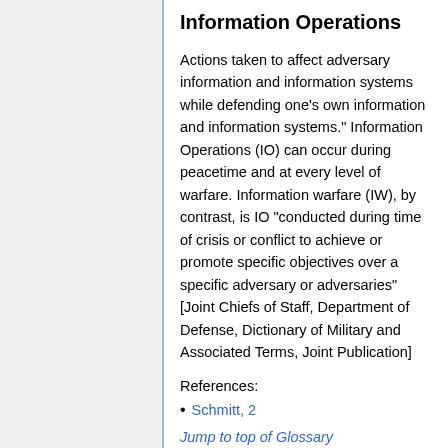Information Operations
Actions taken to affect adversary information and information systems while defending one’s own information and information systems.” Information Operations (IO) can occur during peacetime and at every level of warfare. Information warfare (IW), by contrast, is IO “conducted during time of crisis or conflict to achieve or promote specific objectives over a specific adversary or adversaries” [Joint Chiefs of Staff, Department of Defense, Dictionary of Military and Associated Terms, Joint Publication]
References:
Schmitt, 2
Jump to top of Glossary